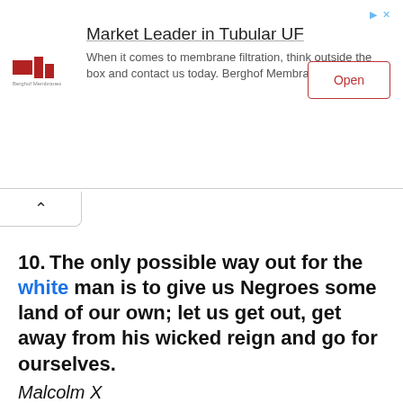[Figure (other): Advertisement banner for Berghof Membranes: 'Market Leader in Tubular UF' with logo, body text about membrane filtration, and an Open button.]
10. The only possible way out for the white man is to give us Negroes some land of our own; let us get out, get away from his wicked reign and go for ourselves.
Malcolm X